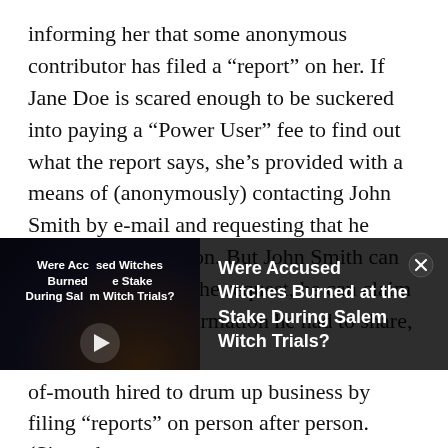informing her that some anonymous contributor has filed a “report” on her. If Jane Doe is scared enough to be suckered into paying a “Power User” fee to find out what the report says, she’s provided with a means of (anonymously) contacting John Smith by e-mail and requesting that he share his information. But John Smith can completely ignore the request, he can claim he “forgot” the information he had to share, or he
[Figure (screenshot): Video overlay panel with dark background showing a video thumbnail on the left with title 'Were Accused Witches Burned at the Stake During Salem Witch Trials?' and a play button, and on the right the same title text in white on a dark background with a close (X) button.]
of-mouth hired to drum up business by filing “reports” on person after person. (Since the